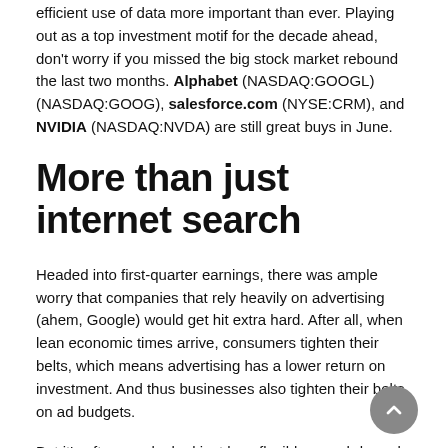efficient use of data more important than ever. Playing out as a top investment motif for the decade ahead, don't worry if you missed the big stock market rebound the last two months. Alphabet (NASDAQ:GOOGL)(NASDAQ:GOOG), salesforce.com (NYSE:CRM), and NVIDIA (NASDAQ:NVDA) are still great buys in June.
More than just internet search
Headed into first-quarter earnings, there was ample worry that companies that rely heavily on advertising (ahem, Google) would get hit extra hard. After all, when lean economic times arrive, consumers tighten their belts, which means advertising has a lower return on investment. And thus businesses also tighten their belts on ad budgets.
But it's often overlooked just how flexible search-based ads can be, and the ease of how Google Search spending can